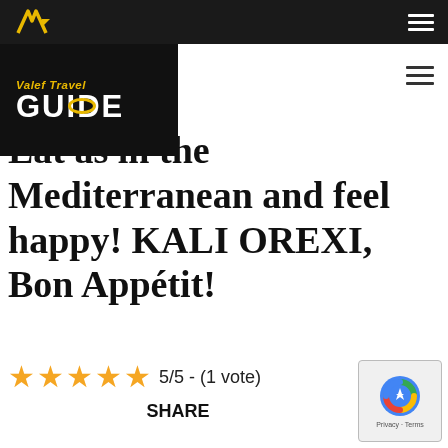Valef Travel GUIDE
Eat as in the Mediterranean and feel happy!  KALI OREXI, Bon Appétit!
5/5 - (1 vote)
SHARE